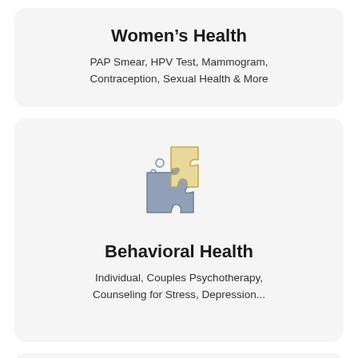Women's Health
PAP Smear, HPV Test, Mammogram, Contraception, Sexual Health & More
[Figure (illustration): Two interlocking puzzle pieces icon — one gray-blue and one yellow/cream — with small circles above, representing behavioral health]
Behavioral Health
Individual, Couples Psychotherapy, Counseling for Stress, Depression...
[Figure (illustration): Partial view of a growth/arrow upward chart icon at the bottom of the page]